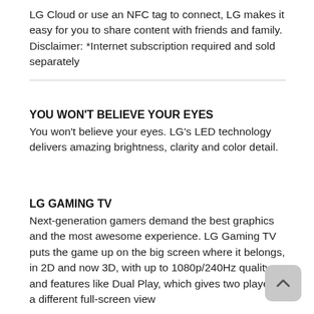LG Cloud or use an NFC tag to connect, LG makes it easy for you to share content with friends and family. Disclaimer: *Internet subscription required and sold separately
YOU WON'T BELIEVE YOUR EYES
You won't believe your eyes. LG's LED technology delivers amazing brightness, clarity and color detail.
LG GAMING TV
Next-generation gamers demand the best graphics and the most awesome experience. LG Gaming TV puts the game up on the big screen where it belongs, in 2D and now 3D, with up to 1080p/240Hz quality and features like Dual Play, which gives two players a different full-screen view on the same screen in 3D...